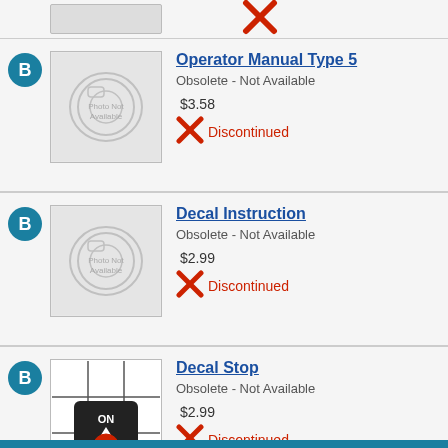[Figure (photo): Partial top row showing a placeholder photo and a red X mark]
Operator Manual Type 5 - Obsolete - Not Available - $3.58 - Discontinued
Decal Instruction - Obsolete - Not Available - $2.99 - Discontinued
Decal Stop - Obsolete - Not Available - $2.99 - Discontinued